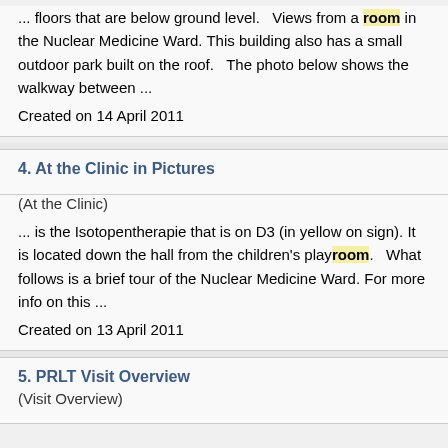... floors that are below ground level.   Views from a room in the Nuclear Medicine Ward. This building also has a small outdoor park built on the roof.   The photo below shows the walkway between ...
Created on 14 April 2011
4. At the Clinic in Pictures
(At the Clinic)
... is the Isotopentherapie that is on D3 (in yellow on sign). It is located down the hall from the children's playroom.   What follows is a brief tour of the Nuclear Medicine Ward. For more info on this ...
Created on 13 April 2011
5. PRLT Visit Overview
(Visit Overview)